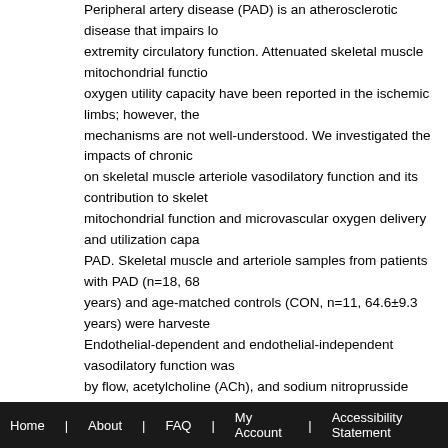Peripheral artery disease (PAD) is an atherosclerotic disease that impairs lower extremity circulatory function. Attenuated skeletal muscle mitochondrial function and oxygen utility capacity have been reported in the ischemic limbs; however, the mechanisms are not well-understood. We investigated the impacts of chronic PAD on skeletal muscle arteriole vasodilatory function and its contribution to skeletal muscle mitochondrial function and microvascular oxygen delivery and utilization capacity in PAD. Skeletal muscle and arteriole samples from patients with PAD (n=18, 68 years) and age-matched controls (CON, n=11, 64.6±9.3 years) were harvested. Endothelial-dependent and endothelial-independent vasodilatory function was measured by flow, acetylcholine (ACh), and sodium nitroprusside (SNP), and skeletal muscle mitochondrial function was measured by high-resolution respirometry. TOI was measured by near-infrared spectroscopy in-vivo. Endothelial-dependent vasodilation was attenuated in PAD in response to ACh (10⁻³M, CON: 71.1±7%, PAD: 45.5±6%, CON: 101.5±4%, PAD: 91.6±5%, P=0.12). Complex I + II state 3 respiration was reduced in PAD (CON: 26.1±2.1, PAD: 7.8±1.4 pmol·s⁻¹·mg⁻¹, P-1, Pr=0.6 and r=0.5, resp Pr=0.5 and r=0.6, respectively, P
Scheduling Link
1
Home | About | FAQ | My Account | Accessibility Statement